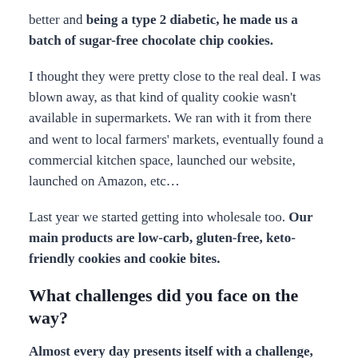better and being a type 2 diabetic, he made us a batch of sugar-free chocolate chip cookies.
I thought they were pretty close to the real deal. I was blown away, as that kind of quality cookie wasn't available in supermarkets. We ran with it from there and went to local farmers' markets, eventually found a commercial kitchen space, launched our website, launched on Amazon, etc…
Last year we started getting into wholesale too. Our main products are low-carb, gluten-free, keto-friendly cookies and cookie bites.
What challenges did you face on the way?
Almost every day presents itself with a challenge, seeing as neither Jose nor myself had any prior experience in baking on consumer packaged goods…